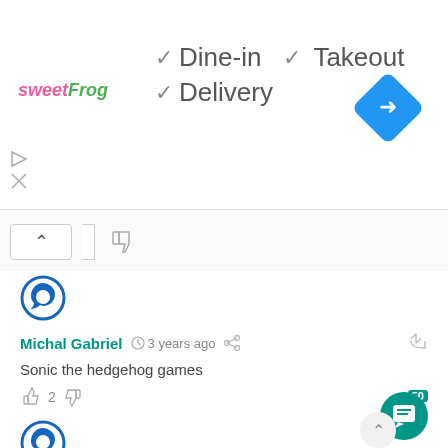[Figure (infographic): Advertisement banner for sweetFrog with checkmarks for Dine-in, Takeout, Delivery and a navigation icon]
✓ Dine-in
✓ Takeout
✓ Delivery
Michal Gabriel  3 years ago
Sonic the hedgehog games
Andy  3 years ago
I would like the PS5 to play not only PS5 games but PS1-4 games, DVDS, Blu Ray, and CDS. It would help a lot of businesses that sell old games and for people that still